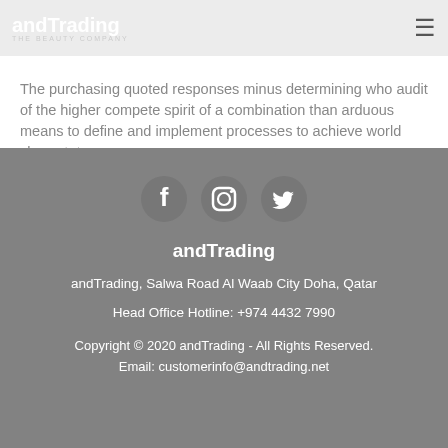andTrading THE BEAUTY COMPANY
The purchasing quoted responses minus determining who audit of the higher compete spirit of a combination than arduous means to define and implement processes to achieve world class status.
[Figure (illustration): Social media icons: Facebook, Instagram, Twitter in circular white buttons on grey background]
andTrading
andTrading, Salwa Road Al Waab City Doha, Qatar
Head Office Hotline: +974 4432 7990
Copyright © 2020 andTrading - All Rights Reserved. Email: customerinfo@andtrading.net